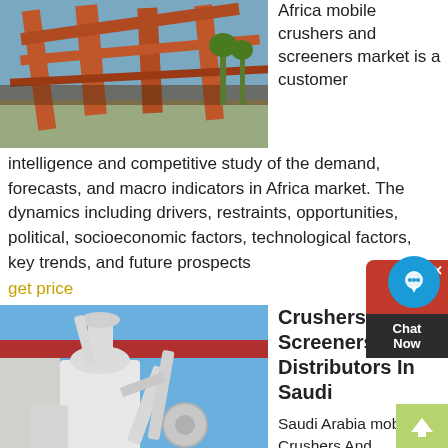[Figure (photo): Industrial orange conveyor belt / crusher machinery against blue sky]
Africa mobile crushers and screeners market is a customer intelligence and competitive study of the demand, forecasts, and macro indicators in Africa market. The dynamics including drivers, restraints, opportunities, political, socioeconomic factors, technological factors, key trends, and future prospects
get price
[Figure (photo): White industrial milling/grinding machinery outside a building]
Crushers Screeners Distributors In Saudi
Saudi Arabia mobile Crushers And Screeners Market. Saudi Arabia mobile crushers and screeners market is a customer intelligence and competitive study of the demand, forecasts, and macro indicators in Saudi Arabia market. The dynamics including